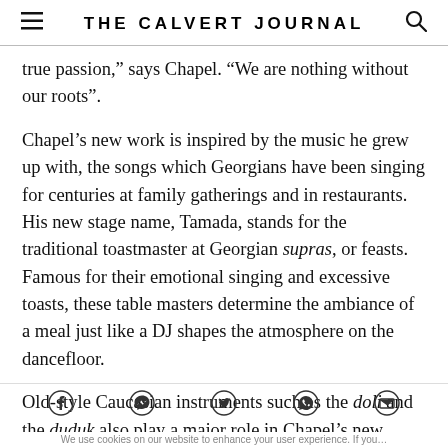THE CALVERT JOURNAL
true passion," says Chapel. "We are nothing without our roots".
Chapel’s new work is inspired by the music he grew up with, the songs which Georgians have been singing for centuries at family gatherings and in restaurants. His new stage name, Tamada, stands for the traditional toastmaster at Georgian supras, or feasts. Famous for their emotional singing and excessive toasts, these table masters determine the ambiance of a meal just like a DJ shapes the atmosphere on the dancefloor.
Old-style Caucasian instruments such as the doli and the duduk also play a major role in Chapel’s new direction, which he hopes to shape into a Caucasian equivalent of Balkan beats. From his long…
Social sharing icons: Facebook, Messenger, Twitter, WhatsApp, Email
We use cookies on our website to enhance your user experience. If you…